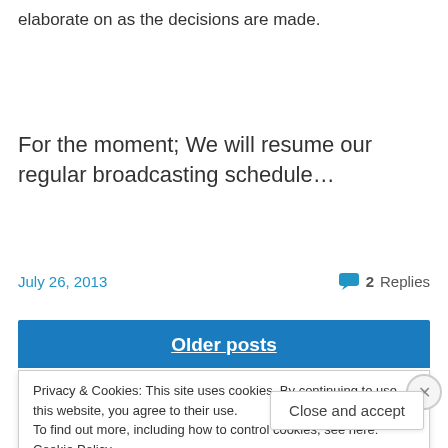elaborate on as the decisions are made.
For the moment; We will resume our regular broadcasting schedule…
July 26, 2013    2 Replies
Older posts
Privacy & Cookies: This site uses cookies. By continuing to use this website, you agree to their use.
To find out more, including how to control cookies, see here: Cookie Policy
Close and accept